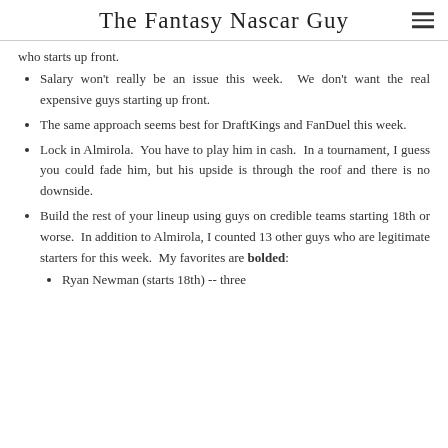The Fantasy Nascar Guy
who starts up front.
Salary won't really be an issue this week.  We don't want the real expensive guys starting up front.
The same approach seems best for DraftKings and FanDuel this week.
Lock in Almirola.  You have to play him in cash.  In a tournament, I guess you could fade him, but his upside is through the roof and there is no downside.
Build the rest of your lineup using guys on credible teams starting 18th or worse.  In addition to Almirola, I counted 13 other guys who are legitimate starters for this week.  My favorites are bolded:
Ryan Newman (starts 18th) -- three